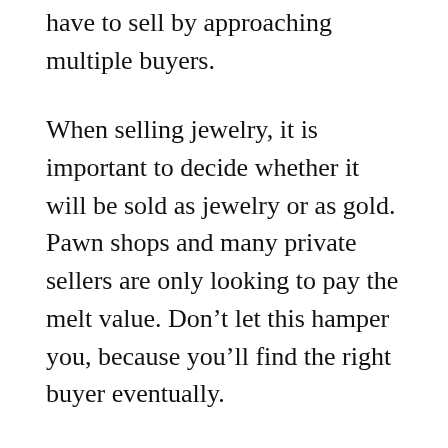have to sell by approaching multiple buyers.
When selling jewelry, it is important to decide whether it will be sold as jewelry or as gold. Pawn shops and many private sellers are only looking to pay the melt value. Don’t let this hamper you, because you’ll find the right buyer eventually.
Only make a sale to buyers who hold a state license in buying gold. Licensed buyers will probably be reputable. There are quite a few vendors that will purchase gold, so never go into it thinking you’ve got to sell your gold to the first seller you talk to.
Never pass up an opportunity to search for gold in a thrift shop or antique store. If you have a discerning eye, you can locate great pieces. The